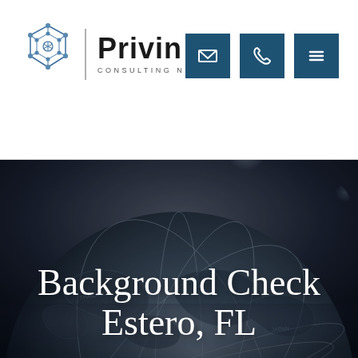[Figure (logo): Privin Consulting Network logo with geometric hexagon/network icon on left, vertical divider, bold 'Privin' text and 'Consulting Network' subtitle]
[Figure (other): Three teal/dark blue square icon buttons: envelope/email icon, phone/handset icon, and hamburger menu icon]
[Figure (photo): Black and white close-up photograph of a globe showing world map geography, used as hero background image]
Background Check Estero, FL